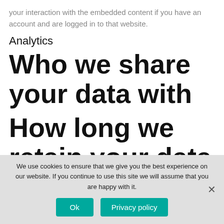your interaction with the embedded content if you have an account and are logged in to that website.
Analytics
Who we share your data with
How long we retain your data
We use cookies to ensure that we give you the best experience on our website. If you continue to use this site we will assume that you are happy with it.